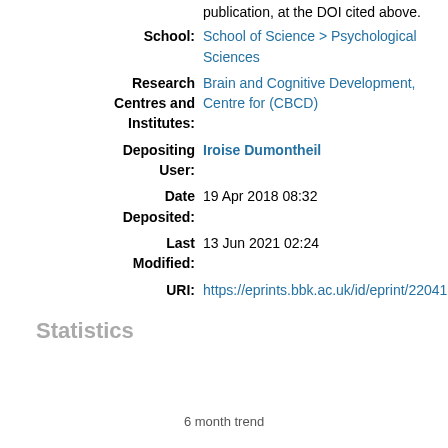publication, at the DOI cited above.
School: School of Science > Psychological Sciences
Research Centres and Institutes: Brain and Cognitive Development, Centre for (CBCD)
Depositing User: Iroise Dumontheil
Date Deposited: 19 Apr 2018 08:32
Last Modified: 13 Jun 2021 02:24
URI: https://eprints.bbk.ac.uk/id/eprint/22041
Statistics
6 month trend